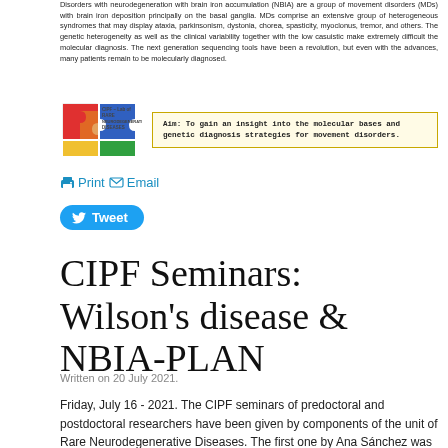Disorders with neurodegeneration with brain iron accumulation (NBIA) are a group of movement disorders (MDs) with brain iron deposition principally on the basal ganglia. MDs comprise an extensive group of heterogeneous syndromes that may display ataxia, parkinsonism, dystonia, chorea, spasticity, myoclonus, tremor, and others. The genetic heterogeneity as well as the clinical variability together with the low casuistic make extremely difficult the molecular diagnosis. The next generation sequencing tools have been a revolution, but even with the advances, many patients remain to be molecularly diagnosed.
[Figure (infographic): Puzzle-piece logo for CIPF Lab of Rare Neurodegenerative Diseases alongside a highlighted aim box reading: Aim: To gain an insight into the molecular bases and genetic diagnosis strategies for movement disorders.]
Print Email
Tweet
CIPF Seminars: Wilson's disease & NBIA-PLAN
Written on 20 July 2021.
Friday, July 16 - 2021. The CIPF seminars of predoctoral and postdoctoral researchers have been given by components of the unit of Rare Neurodegenerative Diseases. The first one by Ana Sánchez was focused on the characterization of useful biomarkers for the diagnosis of Wilson's